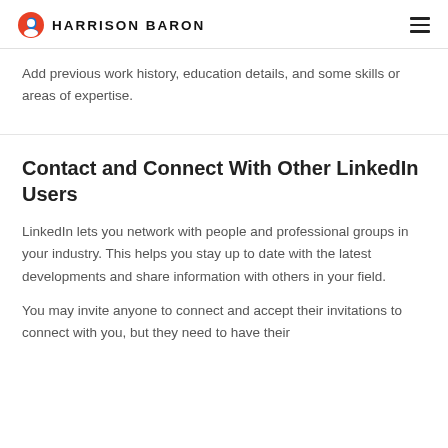HARRISON BARON
Add previous work history, education details, and some skills or areas of expertise.
Contact and Connect With Other LinkedIn Users
LinkedIn lets you network with people and professional groups in your industry. This helps you stay up to date with the latest developments and share information with others in your field.
You may invite anyone to connect and accept their invitations to connect with you, but they need to have their